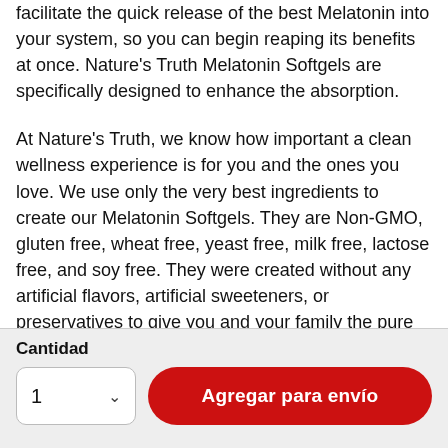facilitate the quick release of the best Melatonin into your system, so you can begin reaping its benefits at once. Nature's Truth Melatonin Softgels are specifically designed to enhance the absorption.

At Nature's Truth, we know how important a clean wellness experience is for you and the ones you love. We use only the very best ingredients to create our Melatonin Softgels. They are Non-GMO, gluten free, wheat free, yeast free, milk free, lactose free, and soy free. They were created without any artificial flavors, artificial sweeteners, or preservatives to give you and your family the pure and honest nutrition you've come to expect
Cantidad
1
Agregar para envío